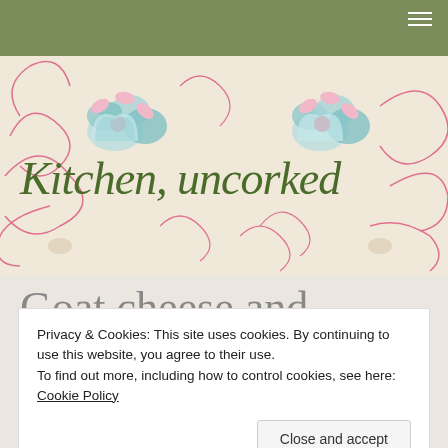Kitchen, uncorked
[Figure (illustration): Decorative floral banner with swirls and stylized flowers in pink, teal, and blue on a cream/beige background]
Kitchen, uncorked
Search
Goat cheese and
Privacy & Cookies: This site uses cookies. By continuing to use this website, you agree to their use.
To find out more, including how to control cookies, see here: Cookie Policy
Close and accept